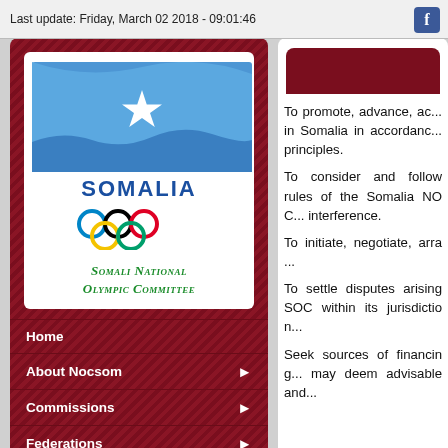Last update: Friday, March 02 2018 - 09:01:46
[Figure (logo): Somali National Olympic Committee logo with Somalia flag (blue with white star) and five Olympic rings, text reading SOMALIA and SOMALI NATIONAL OLYMPIC COMMITTEE in green italic]
Home
About Nocsom
Commissions
Federations
Associations
Elections
To promote, advance, ac... in Somalia in accordance... principles.
To consider and follow... rules of the Somalia NOC... interference.
To initiate, negotiate, arra...
To settle disputes arising... SOC within its jurisdiction...
Seek sources of financing... may deem advisable and...